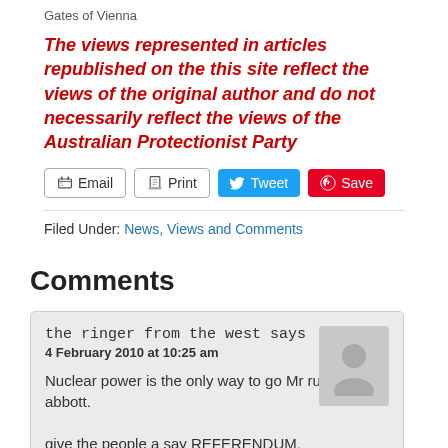Gates of Vienna
The views represented in articles republished on the this site reflect the views of the original author and do not necessarily reflect the views of the Australian Protectionist Party
Filed Under: News, Views and Comments
Comments
the ringer from the west says
4 February 2010 at 10:25 am
Nuclear power is the only way to go Mr rud or abbott.

give the people a say REFERENDUM.